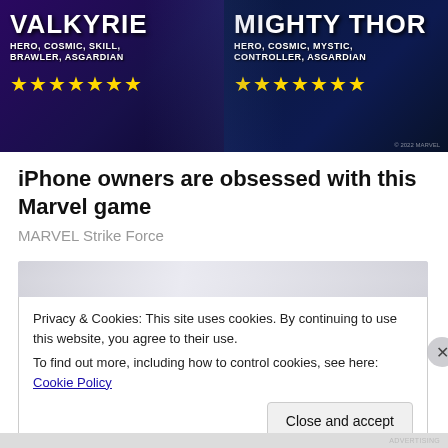[Figure (screenshot): Marvel Strike Force game advertisement showing two heroes: Valkyrie (Hero, Cosmic, Skill, Brawler, Asgardian) with 7 gold stars, and Mighty Thor (Hero, Cosmic, Mystic, Controller, Asgardian) with 7 gold stars, on dark blue/purple background.]
iPhone owners are obsessed with this Marvel game
MARVEL Strike Force
[Figure (screenshot): Partially visible blurred second image, top portion showing a gray blurred banner.]
Privacy & Cookies: This site uses cookies. By continuing to use this website, you agree to their use.
To find out more, including how to control cookies, see here: Cookie Policy